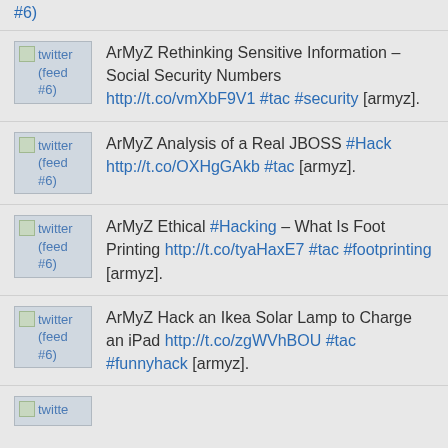#6)
ArMyZ Rethinking Sensitive Information – Social Security Numbers http://t.co/vmXbF9V1 #tac #security [armyz].
ArMyZ Analysis of a Real JBOSS #Hack http://t.co/OXHgGAkb #tac [armyz].
ArMyZ Ethical #Hacking – What Is Foot Printing http://t.co/tyaHaxE7 #tac #footprinting [armyz].
ArMyZ Hack an Ikea Solar Lamp to Charge an iPad http://t.co/zgWVhBOU #tac #funnyhack [armyz].